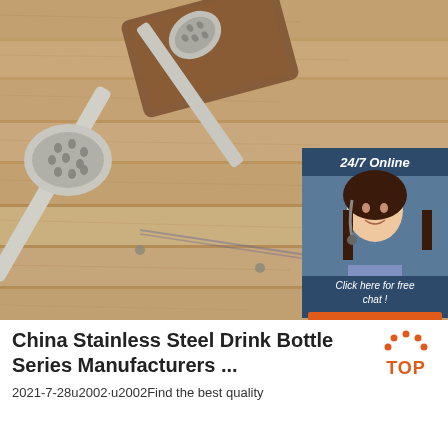[Figure (photo): Photo of two stainless steel slotted/perforated spoons (ladles with holes) lying on a wooden cutting board and wood plank surface. An overlay chat widget in the upper-right of the photo shows '24/7 Online' heading, a female customer service agent with headset, 'Click here for free chat!' text, and an orange 'QUOTATION' button.]
China Stainless Steel Drink Bottle Series Manufacturers ...
2021-7-28u2002·u2002Find the best quality